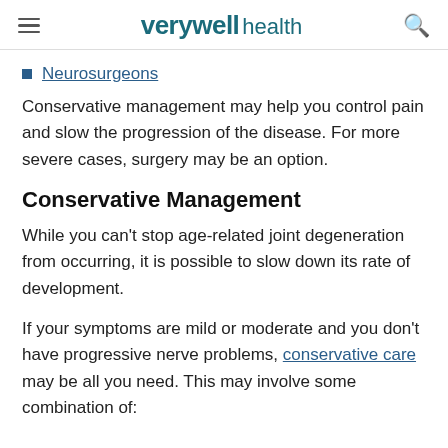verywell health
Neurosurgeons
Conservative management may help you control pain and slow the progression of the disease. For more severe cases, surgery may be an option.
Conservative Management
While you can't stop age-related joint degeneration from occurring, it is possible to slow down its rate of development.
If your symptoms are mild or moderate and you don't have progressive nerve problems, conservative care may be all you need. This may involve some combination of: